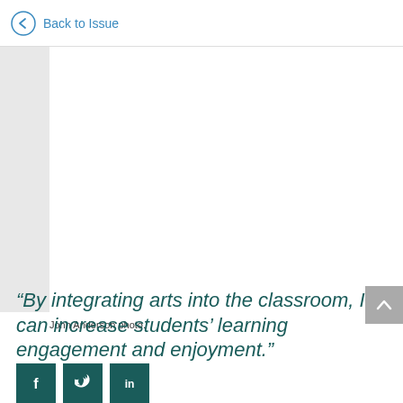Back to Issue
[Figure (photo): Partial photo visible on left side of page, gray placeholder area]
John Anderson photo.
“By integrating arts into the classroom, I can increase students’ learning engagement and enjoyment.”